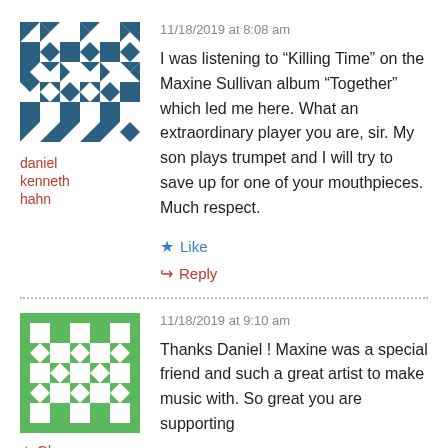[Figure (illustration): Avatar image for daniel kenneth hahn — geometric pattern with dark teal/navy triangles and diamond shapes on white background]
daniel kenneth hahn
11/18/2019 at 8:08 am
I was listening to “Killing Time” on the Maxine Sullivan album “Together” which led me here. What an extraordinary player you are, sir. My son plays trumpet and I will try to save up for one of your mouthpieces. Much respect.
Like
Reply
[Figure (illustration): Avatar image for Glenn — green and white geometric pattern with squares and diamond shapes]
Glenn
11/18/2019 at 9:10 am
Thanks Daniel ! Maxine was a special friend and such a great artist to make music with. So great you are supporting